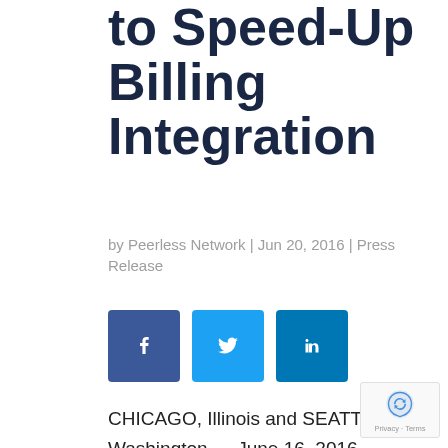to Speed-Up Billing Integration
by Peerless Network | Jun 20, 2016 | Press Release
[Figure (other): Social share buttons: Facebook (blue), Twitter (light blue), LinkedIn (blue)]
CHICAGO, Illinois and SEATTLE, Washington — June 16, 2016 — Peerless Network and Vcare announce today the successful integration of their respective MVNO offerings. Peerless Network's mobility suite of services, including Voice and